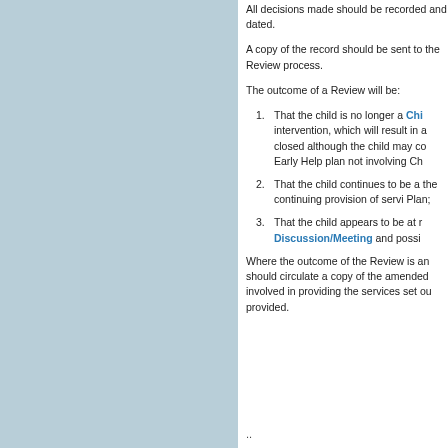All decisions made should be recorded and dated.
A copy of the record should be sent to the Review process.
The outcome of a Review will be:
1. That the child is no longer a Child in Need of intervention, which will result in a case being closed although the child may continue with an Early Help plan not involving Children's Services;
2. That the child continues to be a subject and the continuing provision of services under the Plan;
3. That the child appears to be at risk warranting a Discussion/Meeting and possibly further action.
Where the outcome of the Review is an amendment, should circulate a copy of the amended plan to all involved in providing the services set out in the plan provided.
..